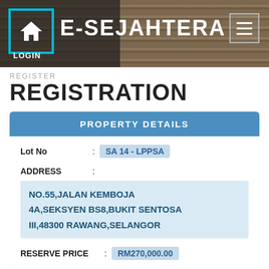E-SEJAHTERA LOGIN
REGISTER
REGISTRATION
| Field | Value |
| --- | --- |
| Lot No | SA 14 - LPPSA |
| ADDRESS | NO.55,JALAN KEMBOJA 4A,SEKSYEN BS8,BUKIT SENTOSA III,48300 RAWANG,SELANGOR |
| RESERVE PRICE | RM270,000.00 |